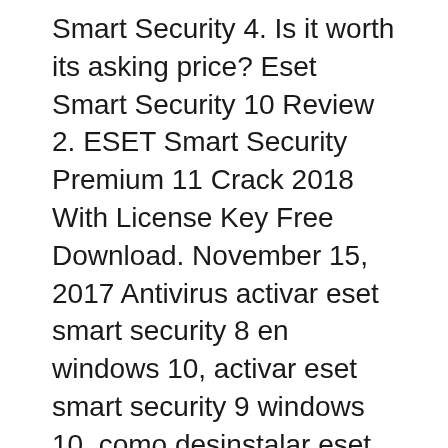Smart Security 4. Is it worth its asking price? Eset Smart Security 10 Review 2. ESET Smart Security Premium 11 Crack 2018 With License Key Free Download. November 15, 2017 Antivirus activar eset smart security 8 en windows 10, activar eset smart security 9 windows 10, como desinstalar eset smart security en windows 10, descargar eset smart security 9 para windows 10, descargar eset smart security para windows 10 gratis, descargar eset
ESET Internet Security Review ESET Internet Security and ESET Smart Security Premium are both good products that scored very high in our own tests and in other independent